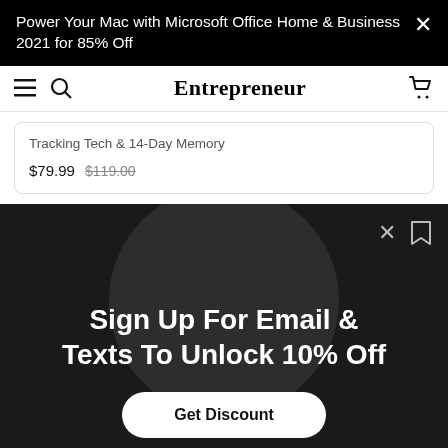Power Your Mac with Microsoft Office Home & Business 2021 for 85% Off
Entrepreneur
Tracking Tech & 14-Day Memory
$79.99  $119.00
[Figure (screenshot): Dark overlay popup with circular silhouette background, X close button and bookmark icon in top right]
Sign Up For Email & Texts To Unlock 10% Off
Get Discount